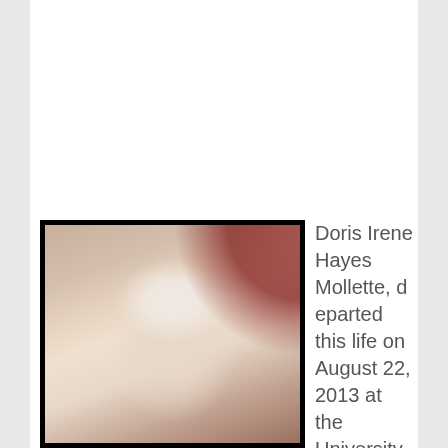[Figure (photo): Portrait photograph of an elderly woman with white hair, wearing glasses and a red top, in a dark frame with white inner border]
Doris Irene Hayes Mollette, departed this life on August 22, 2013 at the University of Kentucky